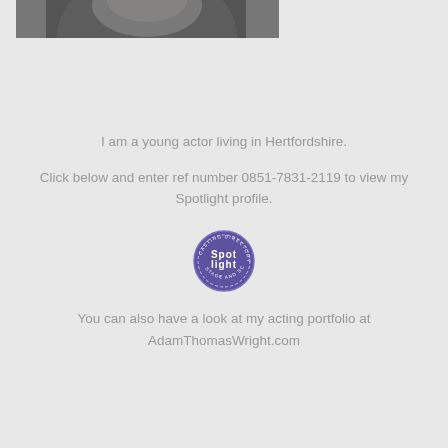[Figure (photo): Partial headshot of a young actor with dark curly hair, wearing a black top, cropped at the bottom of the image.]
I am a young actor living in Hertfordshire.
Click below and enter ref number 0851-7831-2119 to view my Spotlight profile.
[Figure (logo): Spotlight casting directory logo — a circular purple/violet stamp-style badge reading 'CASTING DIRECTORY', 'STAGE AND SCREEN', with 'Spot Light' in large text in the center.]
You can also have a look at my acting portfolio at AdamThomasWright.com